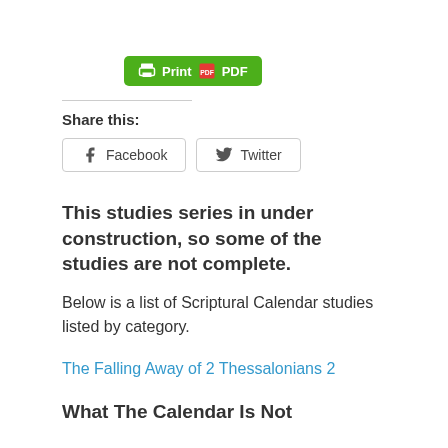[Figure (screenshot): Green Print PDF button with printer icon and PDF icon]
Share this:
[Figure (screenshot): Facebook and Twitter share buttons]
This studies series in under construction, so some of the studies are not complete.
Below is a list of Scriptural Calendar studies listed by category.
The Falling Away of 2 Thessalonians 2
What The Calendar Is Not